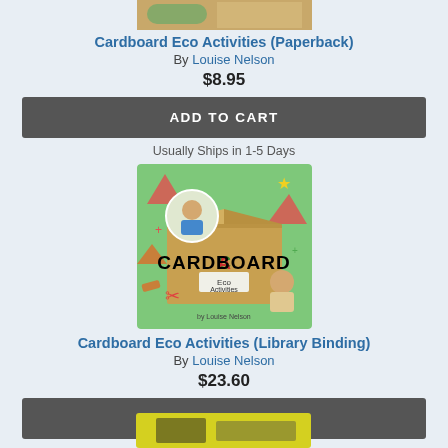[Figure (photo): Book cover thumbnail for Cardboard Eco Activities (Paperback) - partially visible at top]
Cardboard Eco Activities (Paperback)
By Louise Nelson
$8.95
ADD TO CART
Usually Ships in 1-5 Days
[Figure (photo): Book cover for Cardboard Eco Activities showing a cardboard box with colorful CARDBOARD text, a child crafting in a circle, and a child sitting in a cardboard box]
Cardboard Eco Activities (Library Binding)
By Louise Nelson
$23.60
ADD TO CART
Usually Ships in 1-5 Days
[Figure (photo): Bottom portion of another book cover with yellow background, partially visible]